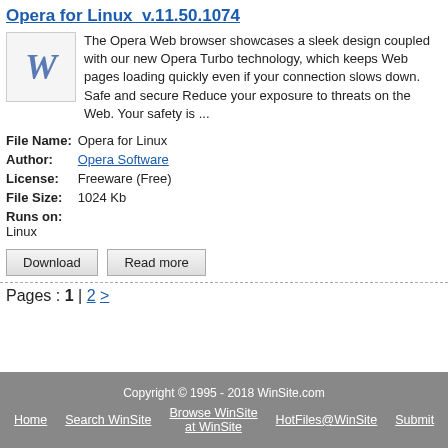Opera for Linux  v.11.50.1074
The Opera Web browser showcases a sleek design coupled with our new Opera Turbo technology, which keeps Web pages loading quickly even if your connection slows down. Safe and secure Reduce your exposure to threats on the Web. Your safety is ...
| Field | Value |
| --- | --- |
| File Name: | Opera for Linux |
| Author: | Opera Software |
| License: | Freeware (Free) |
| File Size: | 1024 Kb |
| Runs on: | Linux |
Download   Read more
Pages : 1 | 2 >
Copyright © 1995 - 2018 WinSite.com
Home  Search WinSite  Browse WinSite at WinSite  HotFiles@WinSite  Submit